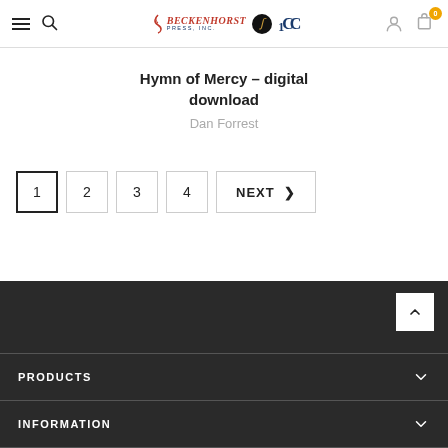Beckenhorst Press, Inc. — navigation header with logo, search, user, and cart icons
Hymn of Mercy – digital download
Dan Forrest
Pagination: 1 (active), 2, 3, 4, NEXT >
PRODUCTS | INFORMATION footer sections with collapse toggles